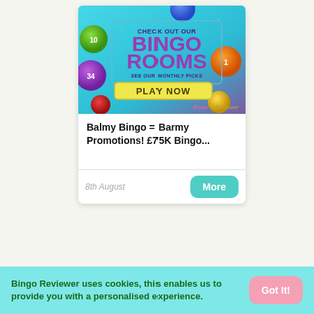[Figure (illustration): Bingo Rooms advertisement banner with colorful bingo balls on a teal/cyan background. Text reads CHECK OUT OUR BINGO ROOMS SEE OUR MONTHLY PICKS with a yellow PLAY NOW button and Bingo Reviewer logo.]
Balmy Bingo = Barmy Promotions! £75K Bingo...
8th August
More
Bingo Reviewer uses cookies, this enables us to provide you with a personalised experience.
Got It!